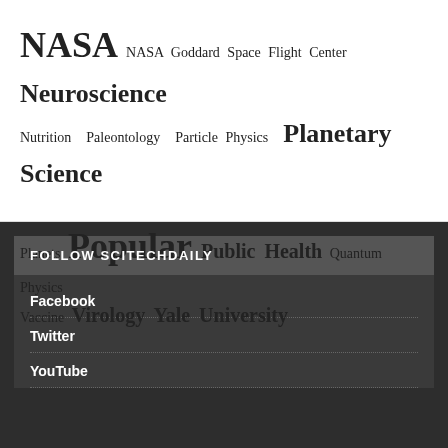NASA NASA Goddard Space Flight Center Neuroscience Nutrition Paleontology Particle Physics Planetary Science Planets Popular Public Health Quantum Physics Vaccine Virology Yale University
FOLLOW SCITECHDAILY
Facebook
Twitter
YouTube